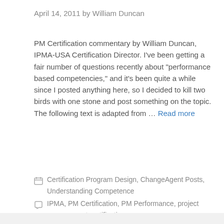April 14, 2011 by William Duncan
PM Certification commentary by William Duncan, IPMA-USA Certification Director. I’ve been getting a fair number of questions recently about “performance based competencies,” and it’s been quite a while since I posted anything here, so I decided to kill two birds with one stone and post something on the topic. The following text is adapted from … Read more
Categories: Certification Program Design, ChangeAgent Posts, Understanding Competence
Tags: IPMA, PM Certification, PM Performance, project management certification